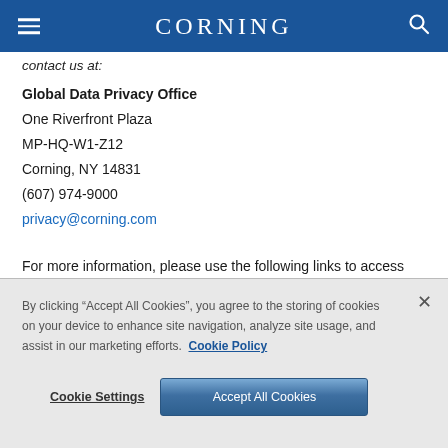CORNING
contact us at:
Global Data Privacy Office
One Riverfront Plaza
MP-HQ-W1-Z12
Corning, NY 14831
(607) 974-9000
privacy@corning.com
For more information, please use the following links to access the Internet Privacy Data Protection Notice and
By clicking "Accept All Cookies", you agree to the storing of cookies on your device to enhance site navigation, analyze site usage, and assist in our marketing efforts. Cookie Policy
Cookie Settings
Accept All Cookies